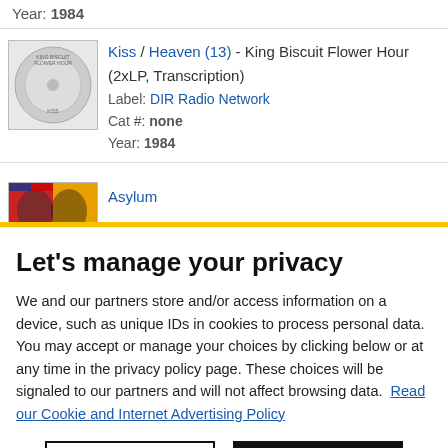Year: 1984
Kiss / Heaven (13) - King Biscuit Flower Hour (2xLP, Transcription)
Label: DIR Radio Network
Cat #: none
Year: 1984
Asylum
Let's manage your privacy
We and our partners store and/or access information on a device, such as unique IDs in cookies to process personal data. You may accept or manage your choices by clicking below or at any time in the privacy policy page. These choices will be signaled to our partners and will not affect browsing data. Read our Cookie and Internet Advertising Policy
Cookies Settings | Accept All Cookies